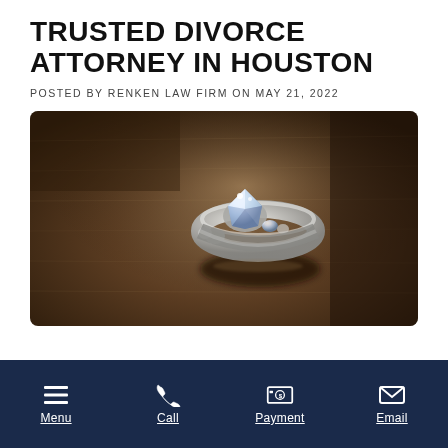TRUSTED DIVORCE ATTORNEY IN HOUSTON
POSTED BY RENKEN LAW FIRM ON MAY 21, 2022
[Figure (photo): Close-up sepia-toned photograph of a diamond engagement ring resting on a textured surface, shot with shallow depth of field.]
Menu  Call  Payment  Email